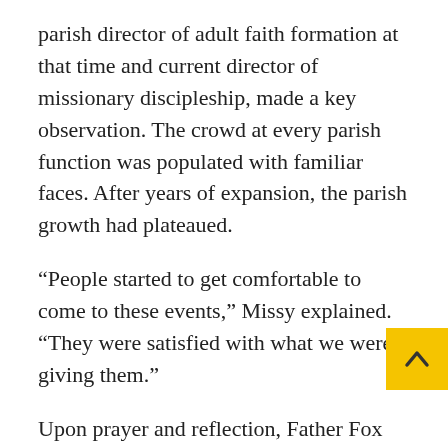parish director of adult faith formation at that time and current director of missionary discipleship, made a key observation. The crowd at every parish function was populated with familiar faces. After years of expansion, the parish growth had plateaued.
“People started to get comfortable to come to these events,” Missy explained. “They were satisfied with what we were giving them.”
Upon prayer and reflection, Father Fox identified a metaphor to explain the parish’s situation. Though he received much feedback indicating parishioners felt well-fed in the faith, he said, “There’s a difference between eating and being well-fed, and being a cook